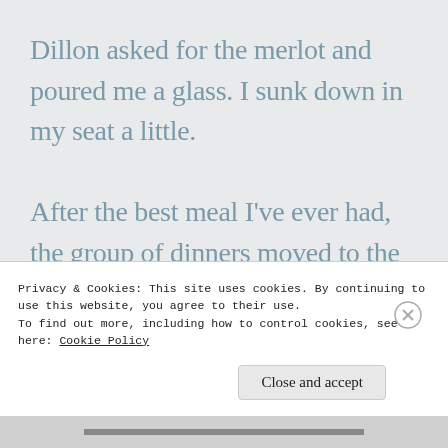Dillon asked for the merlot and poured me a glass. I sunk down in my seat a little.

After the best meal I've ever had, the group of dinners moved to the living room. I met Leah's mother and father who looked like Barbie and Ken at 45. It felt a little naughty of me that I knew about the demons that lurk below the surface. Luckily I didn't have
Privacy & Cookies: This site uses cookies. By continuing to use this website, you agree to their use.
To find out more, including how to control cookies, see here: Cookie Policy
Close and accept